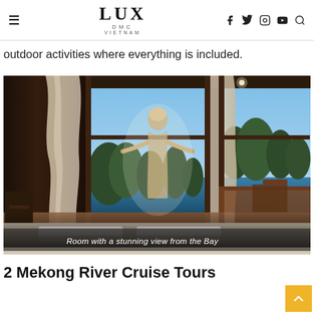LUX DMC VIETNAM
outdoor activities where everything is included.
[Figure (photo): A hotel room with floor-to-ceiling glass doors and curtains, a woman standing at the doorway looking out at Halong Bay with karst limestone islands visible in the background, and a balcony with wooden railings. A bed is in the foreground. Caption overlay: 'Room with a stunning view from the Bay']
2 Mekong River Cruise Tours